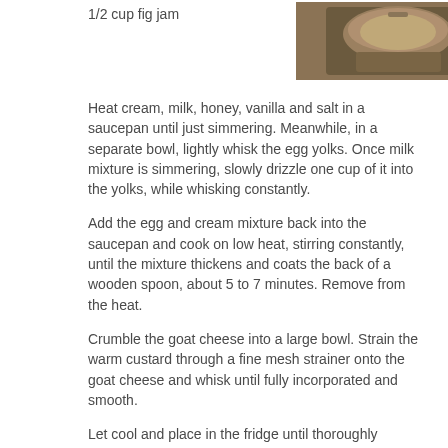1/2 cup fig jam
[Figure (photo): Photo of an ice cream or dessert in a glass/bowl on a wooden surface, partially visible at top right of page]
Heat cream, milk, honey, vanilla and salt in a saucepan until just simmering. Meanwhile, in a separate bowl, lightly whisk the egg yolks. Once milk mixture is simmering, slowly drizzle one cup of it into the yolks, while whisking constantly.
Add the egg and cream mixture back into the saucepan and cook on low heat, stirring constantly, until the mixture thickens and coats the back of a wooden spoon, about 5 to 7 minutes. Remove from the heat.
Crumble the goat cheese into a large bowl. Strain the warm custard through a fine mesh strainer onto the goat cheese and whisk until fully incorporated and smooth.
Let cool and place in the fridge until thoroughly chilled, at least 4 hours or overnight.
Churn the mixture in an ice cream maker. Once frozen, layer spoonfuls of ice cream into a one-quart container, adding tablespoons of fig jam as you go so that ice cream and jam are layered together. Run a